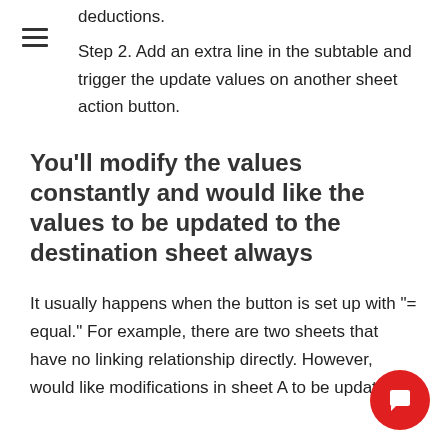deductions.
Step 2. Add an extra line in the subtable and trigger the update values on another sheet action button.
You'll modify the values constantly and would like the values to be updated to the destination sheet always
It usually happens when the button is set up with "= equal." For example, there are two sheets that have no linking relationship directly. However, would like modifications in sheet A to be updated